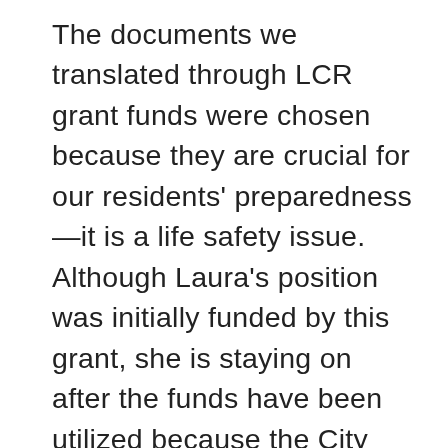The documents we translated through LCR grant funds were chosen because they are crucial for our residents' preparedness—it is a life safety issue. Although Laura's position was initially funded by this grant, she is staying on after the funds have been utilized because the City wants to ensure its communications are accessible to as many residents as possible. The City of Arcata is sending out press releases, social media information, and even providing interpreted summaries of meetings in Spanish. This program provided us with startup funds required to systematize a position that has been needed. As a City, our communications, especially emergency alerts